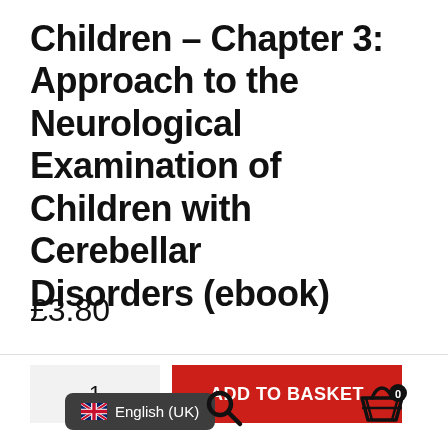Children – Chapter 3: Approach to the Neurological Examination of Children with Cerebellar Disorders (ebook)
£3.80
1  ADD TO BASKET
English (UK)  [search icon]  [basket icon with 0]